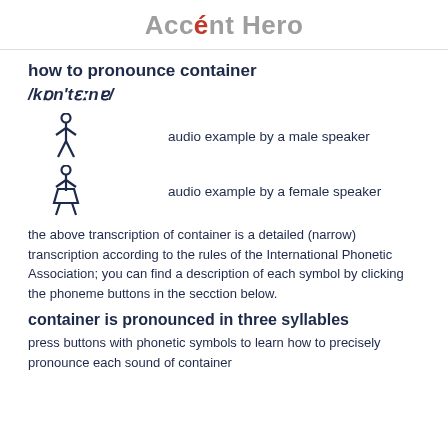Accént Hero
how to pronounce container
/kɒn'tɛːnɐ/
audio example by a male speaker
audio example by a female speaker
the above transcription of container is a detailed (narrow) transcription according to the rules of the International Phonetic Association; you can find a description of each symbol by clicking the phoneme buttons in the secction below.
container is pronounced in three syllables
press buttons with phonetic symbols to learn how to precisely pronounce each sound of container